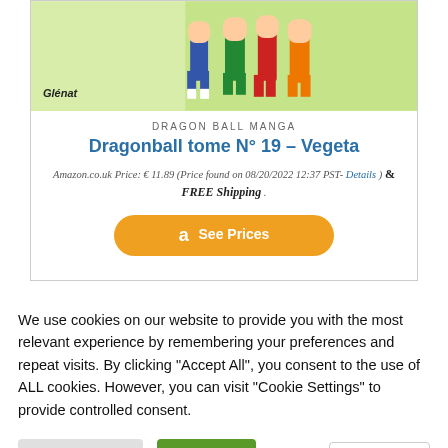[Figure (illustration): Dragon Ball manga characters standing in a group, colorful illustration with green background, Glénat publisher logo visible]
DRAGON BALL MANGA
Dragonball tome N° 19 – Vegeta
Amazon.co.uk Price: € 11.89 (Price found on 08/20/2022 12:37 PST- Details ) & FREE Shipping .
[Figure (other): Orange Amazon button with 'a' logo and 'See Prices' text]
We use cookies on our website to provide you with the most relevant experience by remembering your preferences and repeat visits. By clicking "Accept All", you consent to the use of ALL cookies. However, you can visit "Cookie Settings" to provide controlled consent.